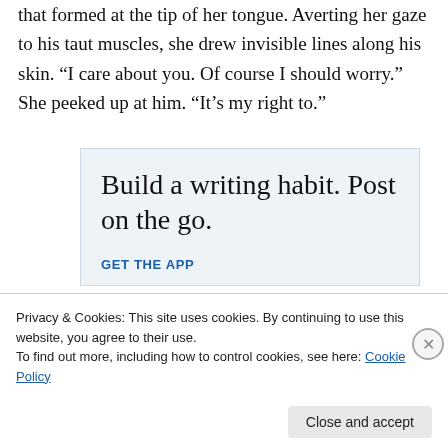that formed at the tip of her tongue. Averting her gaze to his taut muscles, she drew invisible lines along his skin. “I care about you. Of course I should worry.” She peeked up at him. “It’s my right to.”
[Figure (other): WordPress advertisement: 'Build a writing habit. Post on the go.' with GET THE APP call to action and WordPress logo]
Privacy & Cookies: This site uses cookies. By continuing to use this website, you agree to their use.
To find out more, including how to control cookies, see here: Cookie Policy